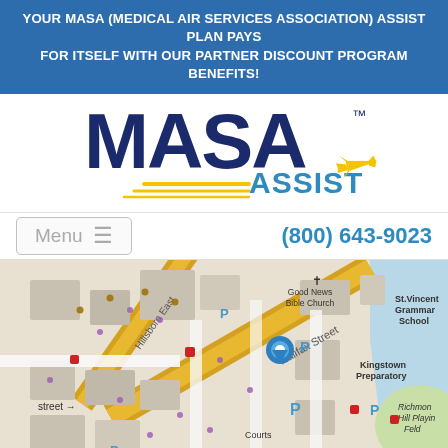YOUR MASA (MEDICAL AIR SERVICES ASSOCIATION) ASSIST PLAN PAYS FOR ITSELF WITH OUR PARTNER DISCOUNT PROGRAM BENEFITS!
[Figure (logo): MASA ASSIST logo with dark blue MASA text and yellow/blue ASSIST lettering with airplane graphic]
Menu ≡
(800) 643-9023
[Figure (map): Street map showing Halifax Street area with Good News Bible Church, St. Vincent Grammar School, Kingstown Preparatory, Richmond Hill Playing Field, Courts, and Financial district. Blue location pin marker visible on Halifax Street. Various map icons for parking (P), shopping, food, and services.]